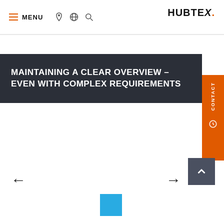MENU
MAINTAINING A CLEAR OVERVIEW – EVEN WITH COMPLEX REQUIREMENTS
[Figure (logo): HUBTEX. brand logo with orange dot]
[Figure (other): Orange CONTACT button on right side]
[Figure (other): Dark grey back-to-top arrow button]
[Figure (other): Left navigation arrow (←)]
[Figure (other): Right navigation arrow (→)]
[Figure (other): Blue square thumbnail indicator]